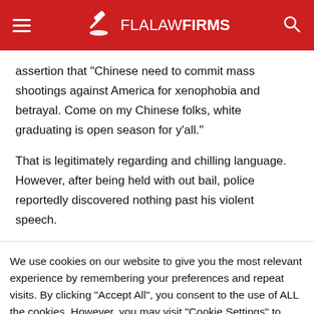FLALAWFIRMS
assertion that “Chinese need to commit mass shootings against America for xenophobia and betrayal. Come on my Chinese folks, white graduating is open season for y’all.”
That is legitimately regarding and chilling language. However, after being held with out bail, police reportedly discovered nothing past his violent speech.
We use cookies on our website to give you the most relevant experience by remembering your preferences and repeat visits. By clicking “Accept All”, you consent to the use of ALL the cookies. However, you may visit “Cookie Settings” to provide a controlled consent.